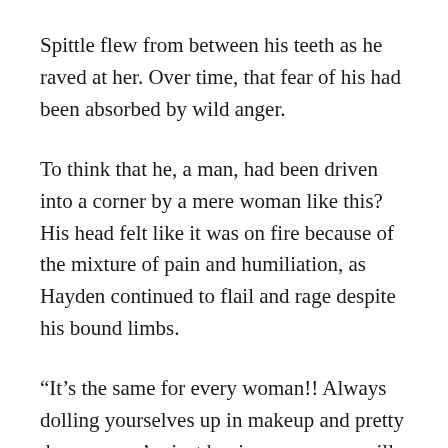Spittle flew from between his teeth as he raved at her. Over time, that fear of his had been absorbed by wild anger.
To think that he, a man, had been driven into a corner by a mere woman like this? His head felt like it was on fire because of the mixture of pain and humiliation, as Hayden continued to flail and rage despite his bound limbs.
“It’s the same for every woman!! Always dolling yourselves up in makeup and pretty dresses, you’re just hoping some man will push you down...! So I decided to educate some dumb whores, what’s wrong with that!? I haven’t done anything wrong!!”